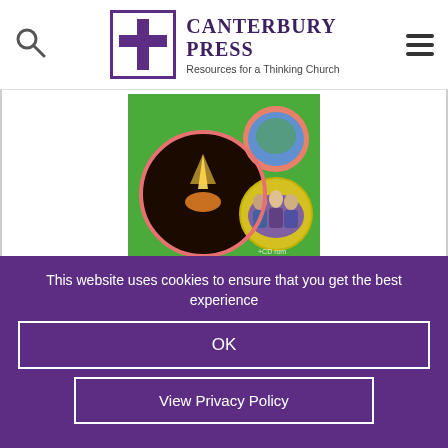[Figure (logo): Canterbury Press logo with cross-in-square emblem and text 'Canterbury Press - Resources for a Thinking Church']
[Figure (photo): Book cover on green background with circular photos: hands holding light, group of people, carnival scene]
[Figure (logo): Google Preview button with open book icon]
This website uses cookies to ensure that you get the best experience
OK
View Privacy Policy